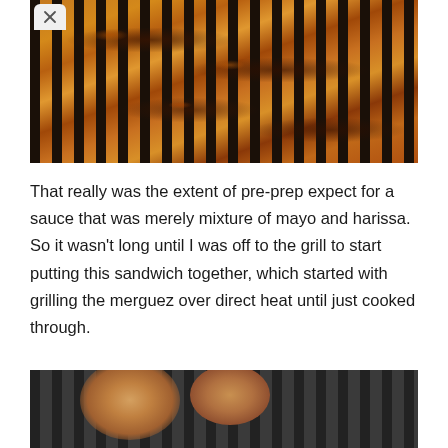[Figure (photo): Merguez sausages grilling on a black cast iron grill grate, showing charred and browned skins with drippings on the grate bars]
That really was the extent of pre-prep expect for a sauce that was merely mixture of mayo and harissa. So it wasn't long until I was off to the grill to start putting this sandwich together, which started with grilling the merguez over direct heat until just cooked through.
[Figure (photo): Food items (buns or rolls) on a dark grill grate, partially visible at the bottom of the page]